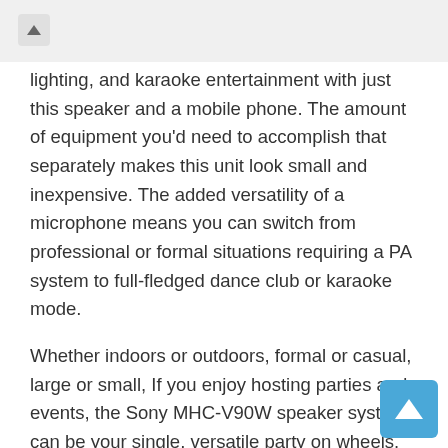lighting, and karaoke entertainment with just this speaker and a mobile phone. The amount of equipment you'd need to accomplish that separately makes this unit look small and inexpensive. The added versatility of a microphone means you can switch from professional or formal situations requiring a PA system to full-fledged dance club or karaoke mode.
Whether indoors or outdoors, formal or casual, large or small, If you enjoy hosting parties and events, the Sony MHC-V90W speaker system can be your single, versatile party on wheels. Just don't forget the snacks and drinks!